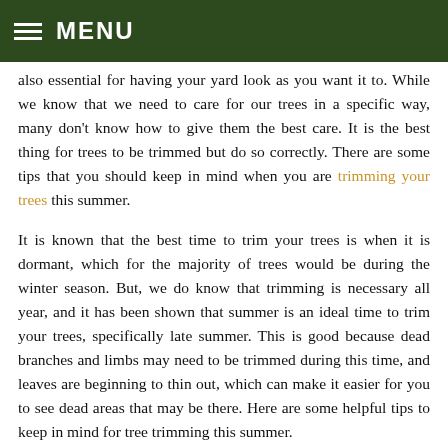MENU
also essential for having your yard look as you want it to. While we know that we need to care for our trees in a specific way, many don't know how to give them the best care. It is the best thing for trees to be trimmed but do so correctly. There are some tips that you should keep in mind when you are trimming your trees this summer.
It is known that the best time to trim your trees is when it is dormant, which for the majority of trees would be during the winter season. But, we do know that trimming is necessary all year, and it has been shown that summer is an ideal time to trim your trees, specifically late summer. This is good because dead branches and limbs may need to be trimmed during this time, and leaves are beginning to thin out, which can make it easier for you to see dead areas that may be there. Here are some helpful tips to keep in mind for tree trimming this summer.